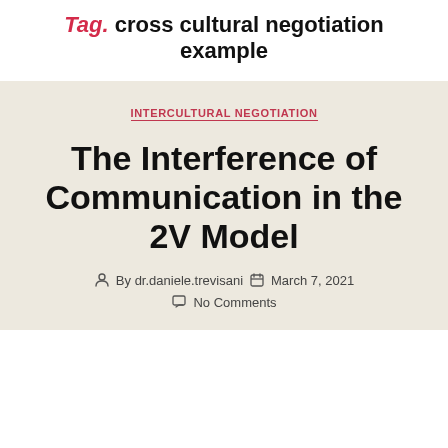Tag: cross cultural negotiation example
INTERCULTURAL NEGOTIATION
The Interference of Communication in the 2V Model
By dr.daniele.trevisani   March 7, 2021   No Comments